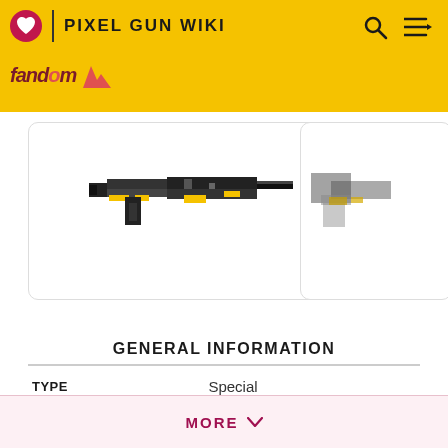PIXEL GUN WIKI
[Figure (screenshot): Pixel Gun Wiki page showing two pixel-art gun images in white bordered cards on a white background below a yellow navigation bar.]
GENERAL INFORMATION
| Field | Value |
| --- | --- |
| TYPE | Special |
| GRADE | /Rare |
| RELEASED | 10.2.0 |
MORE